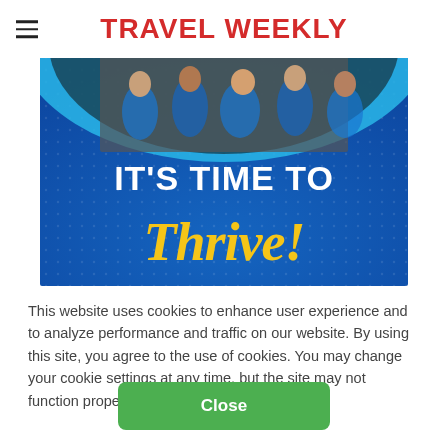TRAVEL WEEKLY
[Figure (illustration): Advertisement banner with blue background showing group of people at top in a circular frame, and text reading IT'S TIME TO Thrive! in white and yellow script]
This website uses cookies to enhance user experience and to analyze performance and traffic on our website. By using this site, you agree to the use of cookies. You may change your cookie settings at any time, but the site may not function properly.  Cookie Policy
Close